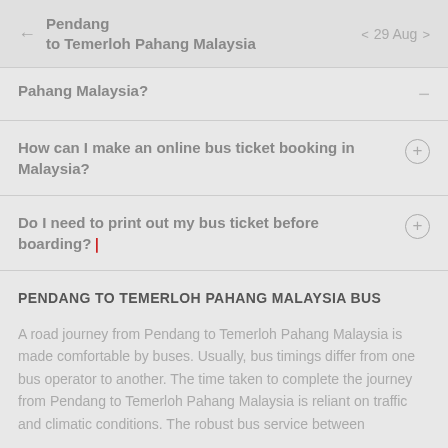Pendang to Temerloh Pahang Malaysia | 29 Aug
Pahang Malaysia?
How can I make an online bus ticket booking in Malaysia?
Do I need to print out my bus ticket before boarding?
PENDANG TO TEMERLOH PAHANG MALAYSIA BUS
A road journey from Pendang to Temerloh Pahang Malaysia is made comfortable by buses. Usually, bus timings differ from one bus operator to another. The time taken to complete the journey from Pendang to Temerloh Pahang Malaysia is reliant on traffic and climatic conditions. The robust bus service between